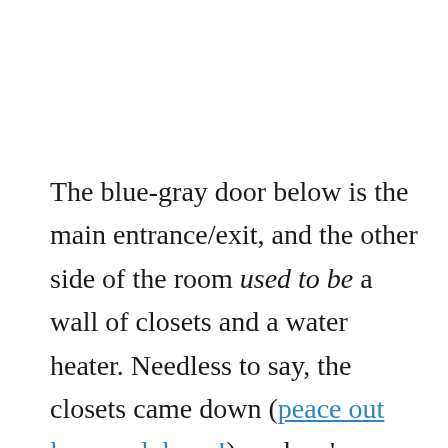The blue-gray door below is the main entrance/exit, and the other side of the room used to be a wall of closets and a water heater. Needless to say, the closets came down (peace out louvered doors!), and we've since converted our water system to tankless. We had our contractor add plumbing for a washer and dryer, and our electrician added outlets that can be hidden inside a